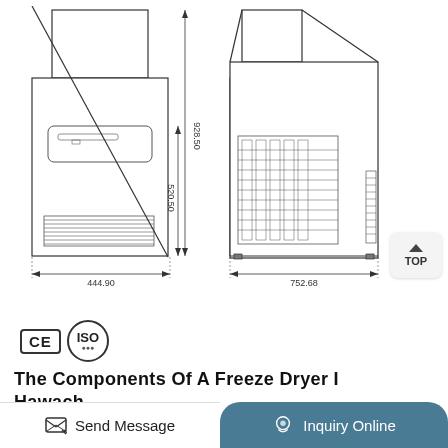[Figure (engineering-diagram): Technical drawing of a freeze dryer shown in two views: front view (left) with dimensions 444.90mm width, 520.50mm lower height, 928.50mm total height; and side view (right) with 752.68mm width. Both views show ventilation grilles and the machine profile with protruding top section.]
[Figure (logo): CE certification mark and ISO certification mark logos]
The Components Of A Freeze Dryer I Hawach